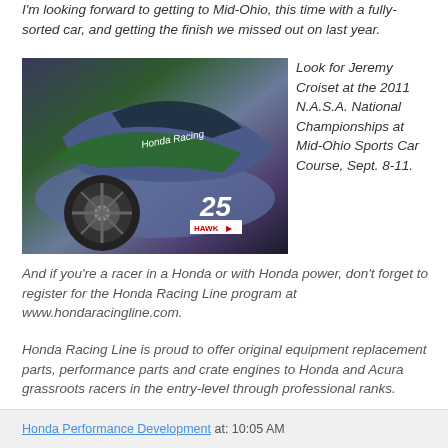I'm looking forward to getting to Mid-Ohio, this time with a fully-sorted car, and getting the finish we missed out on last year.
[Figure (photo): Rear view of a purple and green Honda racing car number 25 with Hawk branding, in a garage or paddock area.]
Look for Jeremy Croiset at the 2011 N.A.S.A. National Championships at Mid-Ohio Sports Car Course, Sept. 8-11.
And if you're a racer in a Honda or with Honda power, don't forget to register for the Honda Racing Line program at www.hondaracingline.com.
Honda Racing Line is proud to offer original equipment replacement parts, performance parts and crate engines to Honda and Acura grassroots racers in the entry-level through professional ranks.
Honda Performance Development at: 10:05 AM